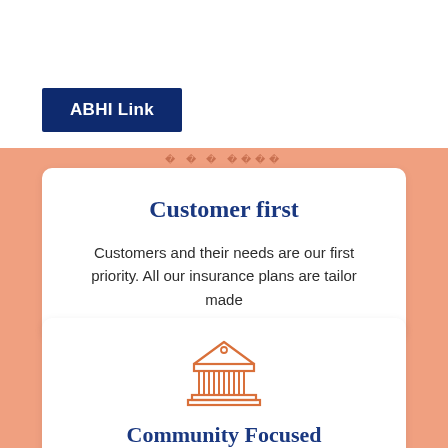ABHI Link
Customer first
Customers and their needs are our first priority. All our insurance plans are tailor made
[Figure (illustration): Orange line-art icon of a classical building/bank with columns and pediment]
Community Focused
We give back to our community and get